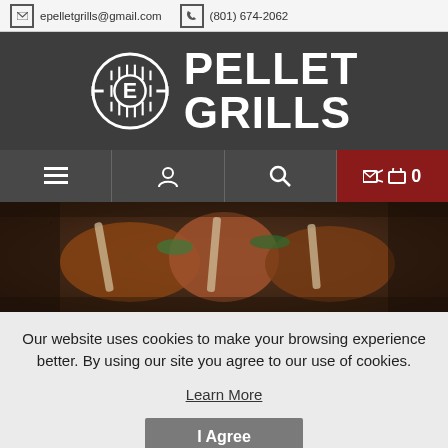epelletgrills@gmail.com   (801) 674-2062
[Figure (logo): E Pellet Grills logo with circular grill graphic and bold white text 'PELLET GRILLS' on dark background]
[Figure (screenshot): Navigation bar with hamburger menu, user icon, search icon, and red cart button showing 0 items]
[Figure (photo): Hero image of grilled meat/ribs with rosemary garnish on dark background]
Our website uses cookies to make your browsing experience better. By using our site you agree to our use of cookies.
Learn More
I Agree